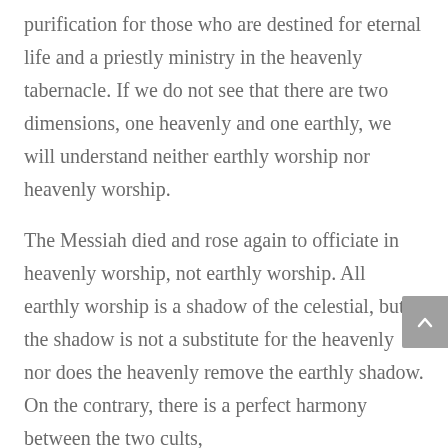purification for those who are destined for eternal life and a priestly ministry in the heavenly tabernacle. If we do not see that there are two dimensions, one heavenly and one earthly, we will understand neither earthly worship nor heavenly worship.
The Messiah died and rose again to officiate in heavenly worship, not earthly worship. All earthly worship is a shadow of the celestial, but the shadow is not a substitute for the heavenly nor does the heavenly remove the earthly shadow. On the contrary, there is a perfect harmony between the two cults,